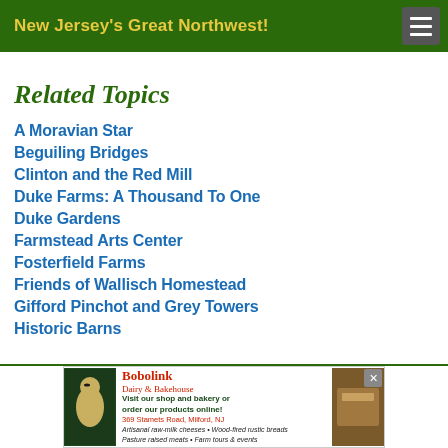New Jersey's Great Northwest!
Related Topics
A Moravian Star
Beguiling Bridges
Clinton and the Red Mill
Duke Farms: A Thousand To One
Duke Gardens
Farmstead Arts Center
Fosterfield Farms
Friends of Wallisch Homestead
Gifford Pinchot and Grey Towers
Historic Barns
[Figure (infographic): Bobolink Dairy & Bakehouse advertisement: Visit our shop and bakery or order our products online! 369 Stamets Road, Milford, NJ. Artisanal raw-milk cheeses • Wood-fired rustic breads • Pasture raised meats • Farm tours & events]